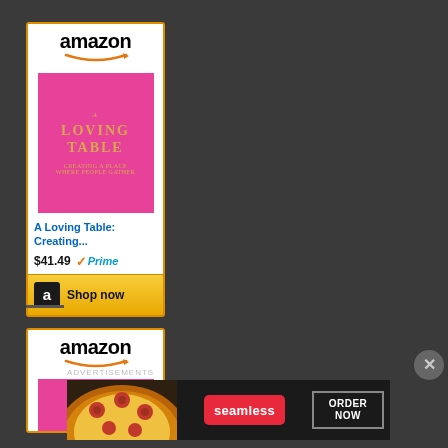[Figure (screenshot): Amazon advertisement card showing 'A Loving Table: Creating...' book priced at $41.49 with Prime badge and 'Shop now' button]
[Figure (screenshot): Second Amazon advertisement card partially visible at bottom showing the Amazon logo and top of a pink book cover]
[Figure (screenshot): Seamless banner advertisement at bottom showing pizza image, Seamless logo in red, and 'ORDER NOW' button]